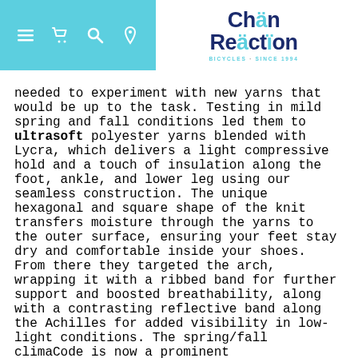Chain Reaction Bicycles
needed to experiment with new yarns that would be up to the task. Testing in mild spring and fall conditions led them to ultrasoft polyester yarns blended with Lycra, which delivers a light compressive hold and a touch of insulation along the foot, ankle, and lower leg using our seamless construction. The unique hexagonal and square shape of the knit transfers moisture through the yarns to the outer surface, ensuring your feet stay dry and comfortable inside your shoes. From there they targeted the arch, wrapping it with a ribbed band for further support and boosted breathability, along with a contrasting reflective band along the Achilles for added visibility in low-light conditions. The spring/fall climaCode is now a prominent